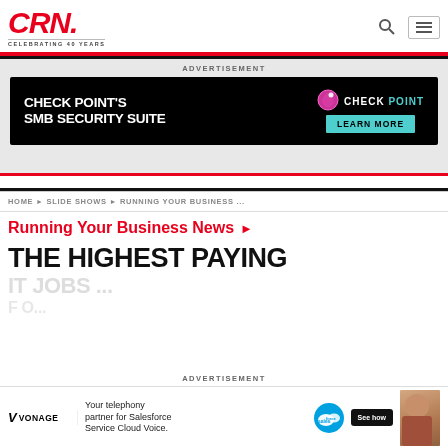CRN. CELEBRATING 40 YEARS
ADVERTISEMENT
[Figure (infographic): Check Point SMB Security Suite advertisement banner — black background, white bold text 'CHECK POINT'S SMB SECURITY SUITE', Check Point logo with pink/magenta globe icon, teal 'LEARN MORE' button]
HOME ▶ SLIDE SHOWS ▶ RUNNING YOUR BUSINESS ...
Running Your Business News ▶
THE HIGHEST PAYING
ADVERTISEMENT
[Figure (infographic): Vonage advertisement — 'Your telephony partner for Salesforce Service Cloud Voice.' with Vonage logo, Salesforce logo, See how button, and person on phone in background]